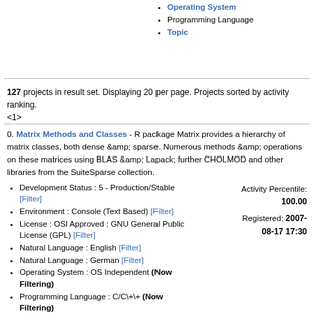Operating System
Programming Language
Topic
127 projects in result set. Displaying 20 per page. Projects sorted by activity ranking.
<1>
0. Matrix Methods and Classes - R package Matrix provides a hierarchy of matrix classes, both dense &amp; sparse. Numerous methods &amp; operations on these matrices using BLAS &amp; Lapack; further CHOLMOD and other libraries from the SuiteSparse collection.
Development Status : 5 - Production/Stable [Filter]
Environment : Console (Text Based) [Filter]
License : OSI Approved : GNU General Public License (GPL) [Filter]
Natural Language : English [Filter]
Natural Language : German [Filter]
Operating System : OS Independent (Now Filtering)
Programming Language : C/C\+\+ (Now Filtering)
Activity Percentile: 100.00
Registered: 2007-08-17 17:30